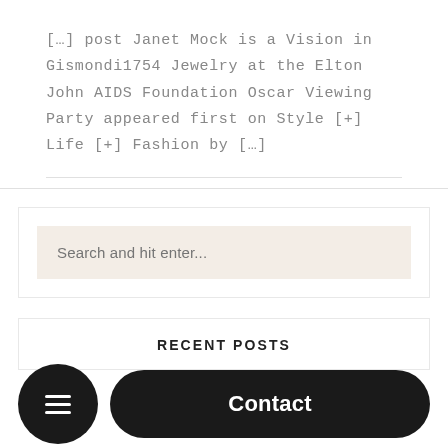[…] post Janet Mock is a Vision in Gismondi1754 Jewelry at the Elton John AIDS Foundation Oscar Viewing Party appeared first on Style [+] Life [+] Fashion by […]
Search and hit enter...
RECENT POSTS
Contact